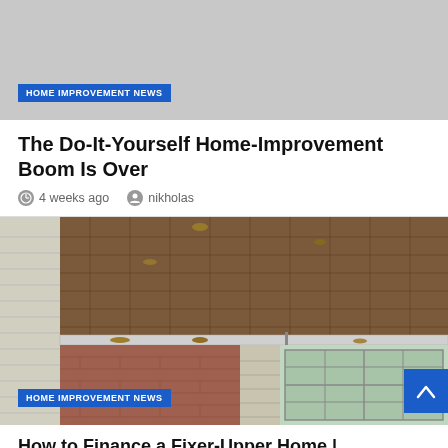[Figure (photo): Gray placeholder image at top of page representing a home improvement photo]
HOME IMPROVEMENT NEWS
The Do-It-Yourself Home-Improvement Boom Is Over
4 weeks ago   nikholas
[Figure (photo): Exterior photo of a house showing a damaged roof with missing shingles and gutters filled with leaves, brick wall and window visible below]
HOME IMPROVEMENT NEWS
How to Finance a Fixer-Upper Home | Mortgages and Advice